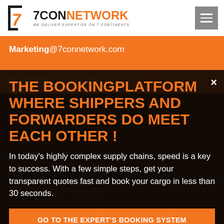[Figure (logo): 7CON NETWORK logo with bracket-7 icon and tagline WE DELIVER EXPERTISE ON 7 CONTINENTS]
Marketing@7connetwork.com
Finance@7connetwork.com
Hr@7connetwork.com
THE BOOKINGPLATFORM WHERE SHIPPERS AND FORWARDERS DO MEET EACH OTHER !
In today's highly complex supply chains, speed is a key to success. With a few simple steps, get your transparent quotes fast and book your cargo in less than 30 seconds.
GO TO THE EXPERT'S BOOKING SYSTEM
© 7connetwork 2022. All rights reserved.